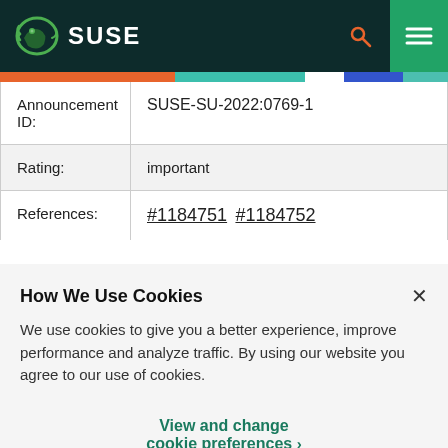SUSE
| Field | Value |
| --- | --- |
| Announcement ID: | SUSE-SU-2022:0769-1 |
| Rating: | important |
| References: | #1184751 #1184752 |
How We Use Cookies
We use cookies to give you a better experience, improve performance and analyze traffic. By using our website you agree to our use of cookies.
View and change cookie preferences >